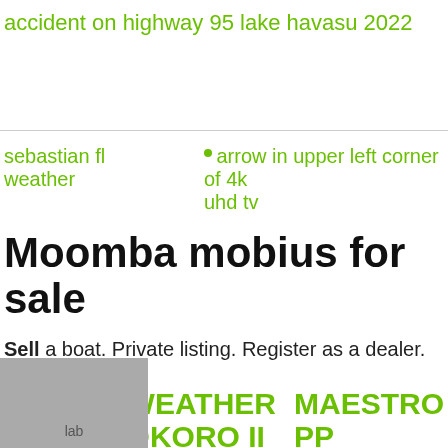accident on highway 95 lake havasu 2022
sebastian fl weather
arrow in upper left corner of 4k uhd tv
Moomba mobius for sale
Sell a boat. Private listing. Register as a dealer.
resorts on jekyll island
2014
WEATHER OKORO II
MAESTRO PP
schepartz lab